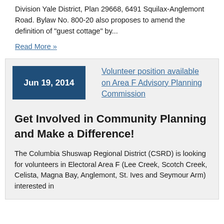Division Yale District, Plan 29668, 6491 Squilax-Anglemont Road. Bylaw No. 800-20 also proposes to amend the definition of "guest cottage" by...
Read More »
Jun 19, 2014
Volunteer position available on Area F Advisory Planning Commission
Get Involved in Community Planning and Make a Difference!
The Columbia Shuswap Regional District (CSRD) is looking for volunteers in Electoral Area F (Lee Creek, Scotch Creek, Celista, Magna Bay, Anglemont, St. Ives and Seymour Arm) interested in